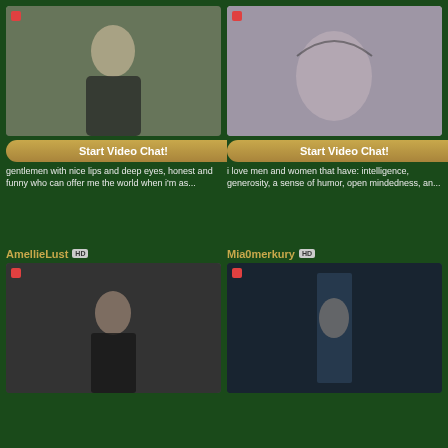[Figure (photo): Blonde woman in black outfit outdoors near car, trees in background]
Start Video Chat!
gentlemen with nice lips and deep eyes, honest and funny who can offer me the world when i'm as...
[Figure (photo): Tattooed woman in fishnet and black thong, rear view, indoor setting]
Start Video Chat!
i love men and women that have: intelligence, generosity, a sense of humor, open mindedness, an...
AmellieLust
[Figure (photo): Dark-haired woman in black bodysuit taking mirror selfie]
Mia0merkury
[Figure (photo): Woman in striped top and short skirt near glass doors at night]